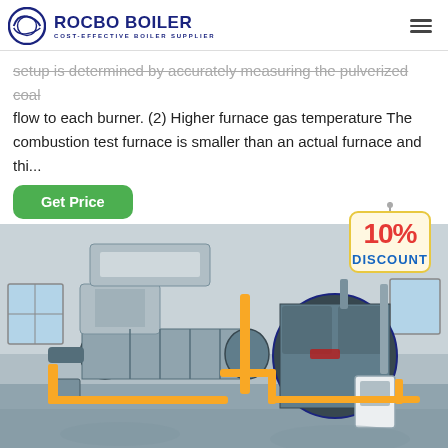ROCBO BOILER - COST-EFFECTIVE BOILER SUPPLIER
setup is determined by accurately measuring the pulverized coal flow to each burner. (2) Higher furnace gas temperature The combustion test furnace is smaller than an actual furnace and thi...
Get Price
[Figure (photo): Industrial boilers in a factory setting showing two large cylindrical boiler units with yellow pipes and fittings, positioned side by side in an industrial facility with concrete floor. A 10% DISCOUNT badge is overlaid in the top right corner.]